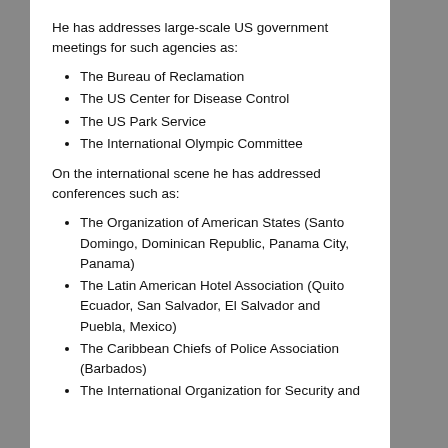He has addresses large-scale US government meetings for such agencies as:
The Bureau of Reclamation
The US Center for Disease Control
The US Park Service
The International Olympic Committee
On the international scene he has addressed conferences such as:
The Organization of American States (Santo Domingo, Dominican Republic, Panama City, Panama)
The Latin American Hotel Association (Quito Ecuador, San Salvador, El Salvador and Puebla, Mexico)
The Caribbean Chiefs of Police Association (Barbados)
The International Organization for Security and...